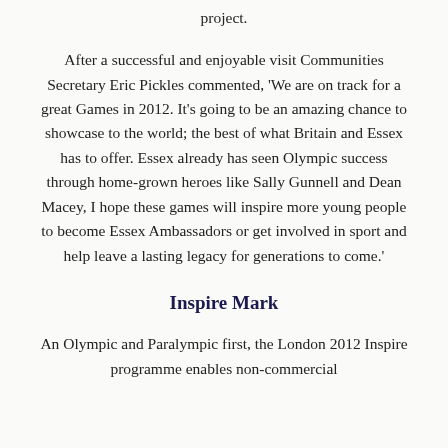project.
After a successful and enjoyable visit Communities Secretary Eric Pickles commented, ‘We are on track for a great Games in 2012. It’s going to be an amazing chance to showcase to the world; the best of what Britain and Essex has to offer. Essex already has seen Olympic success through home-grown heroes like Sally Gunnell and Dean Macey, I hope these games will inspire more young people to become Essex Ambassadors or get involved in sport and help leave a lasting legacy for generations to come.’
Inspire Mark
An Olympic and Paralympic first, the London 2012 Inspire programme enables non-commercial